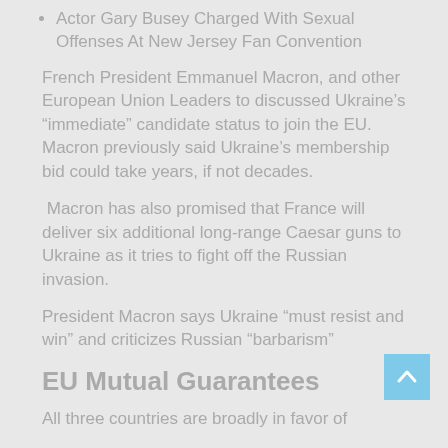Actor Gary Busey Charged With Sexual Offenses At New Jersey Fan Convention
French President Emmanuel Macron, and other European Union Leaders to discussed Ukraine’s “immediate” candidate status to join the EU. Macron previously said Ukraine’s membership bid could take years, if not decades.
Macron has also promised that France will deliver six additional long-range Caesar guns to Ukraine as it tries to fight off the Russian invasion.
President Macron says Ukraine “must resist and win” and criticizes Russian “barbarism”
EU Mutual Guarantees
All three countries are broadly in favor of